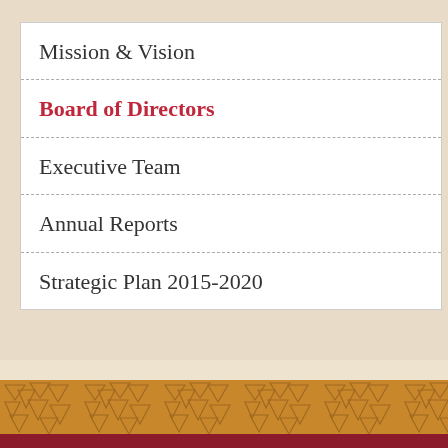Mission & Vision
Board of Directors
Executive Team
Annual Reports
Strategic Plan 2015-2020